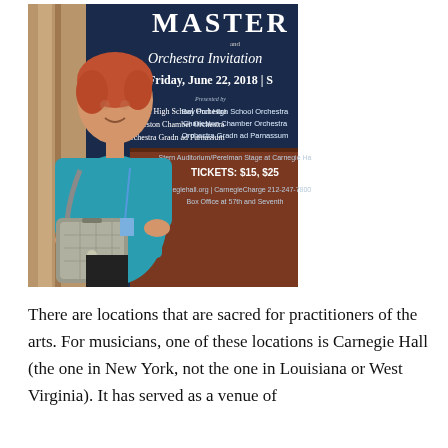[Figure (photo): A woman in a teal sweater with a gray crossbody bag stands in front of a Carnegie Hall poster/sign. The poster reads: MASTER, Orchestra Invitation, Friday, June 22, 2018 | S[time cut off], Bay Port High School Orchestra, Charleston Chamber Orchestra, Orchestra Gradn ad Parnassum, Stern Auditorium/Perelman Stage at Carnegie [Hall], TICKETS: $15, $25, carnegiehall.org | CarnegieCharge 212-247-7800, Box Office at 57th and Seventh.]
There are locations that are sacred for practitioners of the arts. For musicians, one of these locations is Carnegie Hall (the one in New York, not the one in [Louisiana or West Virginia]). It has served as a venue of...